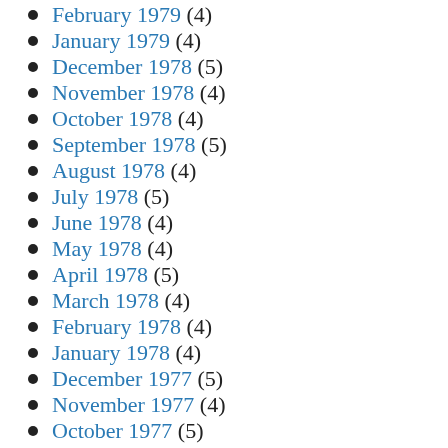February 1979 (4)
January 1979 (4)
December 1978 (5)
November 1978 (4)
October 1978 (4)
September 1978 (5)
August 1978 (4)
July 1978 (5)
June 1978 (4)
May 1978 (4)
April 1978 (5)
March 1978 (4)
February 1978 (4)
January 1978 (4)
December 1977 (5)
November 1977 (4)
October 1977 (5)